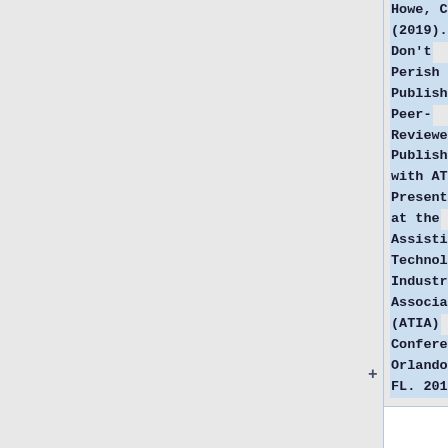Howe, C. (2019). Don't Perish - Publish! Peer-Reviewed Publishing with ATOB. Presented at the Assistive Technology Industry Association (ATIA) Conference, Orlando, FL. 2019.